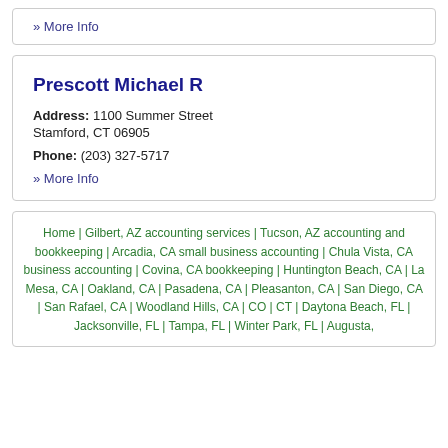» More Info
Prescott Michael R
Address: 1100 Summer Street Stamford, CT 06905
Phone: (203) 327-5717
» More Info
Home | Gilbert, AZ accounting services | Tucson, AZ accounting and bookkeeping | Arcadia, CA small business accounting | Chula Vista, CA business accounting | Covina, CA bookkeeping | Huntington Beach, CA | La Mesa, CA | Oakland, CA | Pasadena, CA | Pleasanton, CA | San Diego, CA | San Rafael, CA | Woodland Hills, CA | CO | CT | Daytona Beach, FL | Jacksonville, FL | Tampa, FL | Winter Park, FL | Augusta,